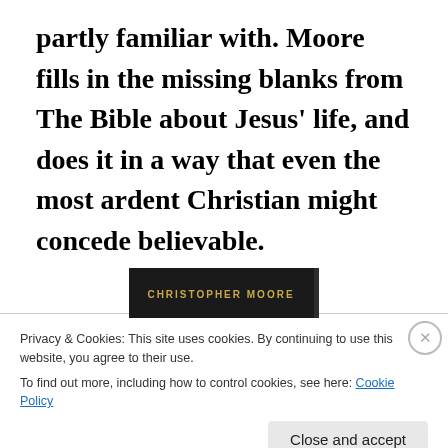partly familiar with. Moore fills in the missing blanks from The Bible about Jesus' life, and does it in a way that even the most ardent Christian might concede believable.
[Figure (photo): Partial view of a book cover with 'CHRISTOPHER MOORE' text visible in gold on a dark background]
Privacy & Cookies: This site uses cookies. By continuing to use this website, you agree to their use.
To find out more, including how to control cookies, see here: Cookie Policy